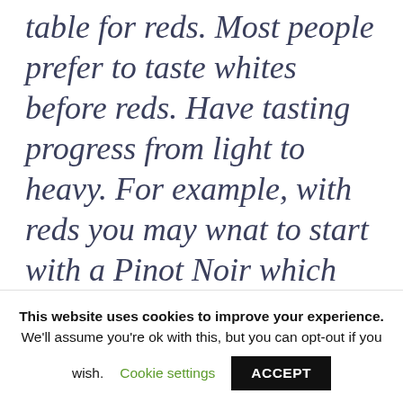table for reds. Most people prefer to taste whites before reds. Have tasting progress from light to heavy. For example, with reds you may wnat to start with a Pinot Noir which are light and move to a heavier Cabernet. What I
This website uses cookies to improve your experience. We'll assume you're ok with this, but you can opt-out if you wish. Cookie settings ACCEPT